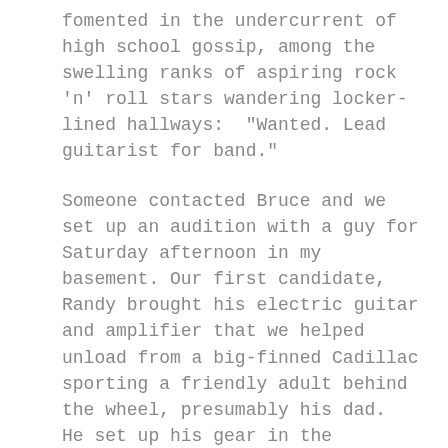fomented in the undercurrent of high school gossip, among the swelling ranks of aspiring rock 'n' roll stars wandering locker-lined hallways:  "Wanted.  Lead guitarist for band."
Someone contacted Bruce and we set up an audition with a guy for Saturday afternoon in my basement.  Our first candidate, Randy brought his electric guitar and amplifier that we helped unload from a big-finned Cadillac sporting a friendly adult behind the wheel, presumably his dad.  He set up his gear in the basement.  The guitar was a white, hollow-body style widely used by country and western players.  That should have been our first clue.  Getting down to business, we asked him to play something.  Randy picked out a few twangy notes that could have been a song, but it didn't sound familiar.  He continued to